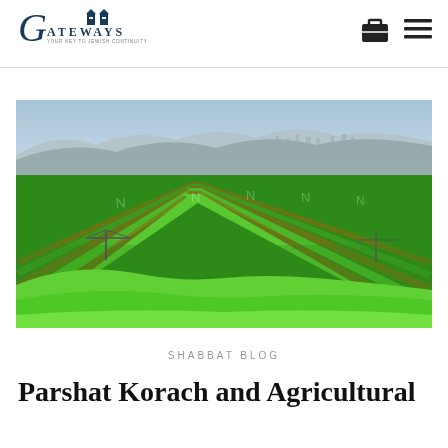GATEWAYS — YOUR KEY TO JEWISH CONTINUITY
[Figure (photo): Aerial view of lush green agricultural crop rows stretching to the horizon with mountains and a town visible in the background under a hazy blue sky. Irrigation equipment visible.]
SHABBAT BLOG
Parshat Korach and Agricultural